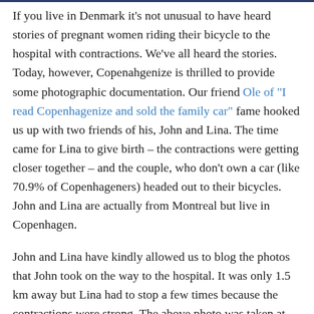If you live in Denmark it's not unusual to have heard stories of pregnant women riding their bicycle to the hospital with contractions. We've all heard the stories. Today, however, Copenahgenize is thrilled to provide some photographic documentation. Our friend Ole of "I read Copenhagenize and sold the family car" fame hooked us up with two friends of his, John and Lina. The time came for Lina to give birth – the contractions were getting closer together – and the couple, who don't own a car (like 70.9% of Copenhageners) headed out to their bicycles. John and Lina are actually from Montreal but live in Copenhagen.
John and Lina have kindly allowed us to blog the photos that John took on the way to the hospital. It was only 1.5 km away but Lina had to stop a few times because the contractions were strong. The above photo was taken at